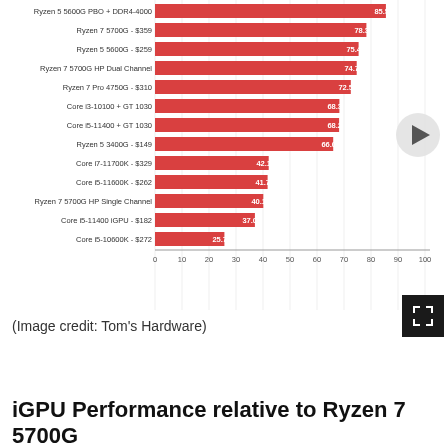[Figure (bar-chart): iGPU Performance relative to Ryzen 7 5700G]
(Image credit: Tom's Hardware)
iGPU Performance relative to Ryzen 7 5700G